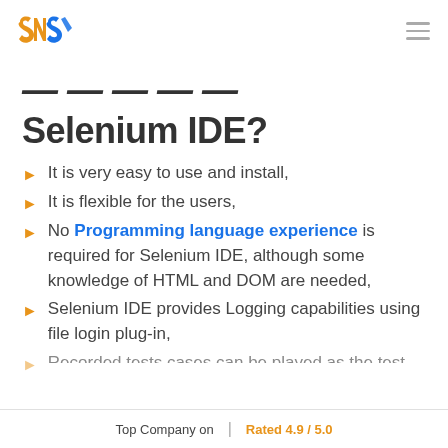SNS logo | hamburger menu
Selenium IDE?
It is very easy to use and install,
It is flexible for the users,
No Programming language experience is required for Selenium IDE, although some knowledge of HTML and DOM are needed,
Selenium IDE provides Logging capabilities using file login plug-in,
Recorded tests cases can be played as the test
Top Company on  |  Rated 4.9 / 5.0